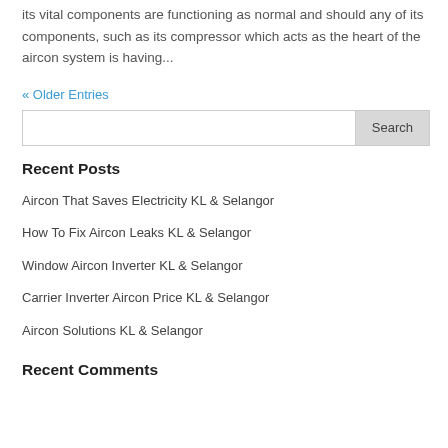its vital components are functioning as normal and should any of its components, such as its compressor which acts as the heart of the aircon system is having...
« Older Entries
Recent Posts
Aircon That Saves Electricity KL & Selangor
How To Fix Aircon Leaks KL & Selangor
Window Aircon Inverter KL & Selangor
Carrier Inverter Aircon Price KL & Selangor
Aircon Solutions KL & Selangor
Recent Comments